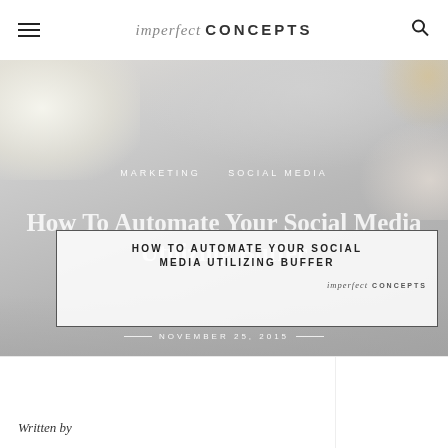imperfect CONCEPTS
[Figure (photo): Flat lay desk photo showing a laptop, white roses, a cup of coffee/tea, lipstick, a gold decorative object, and pastel macarons on a white plate. Background is light gray/white.]
MARKETING   SOCIAL MEDIA
How To Automate Your Social Media Utilizing Buffer
HOW TO AUTOMATE YOUR SOCIAL MEDIA UTILIZING BUFFER
NOVEMBER 25, 2015
Written by